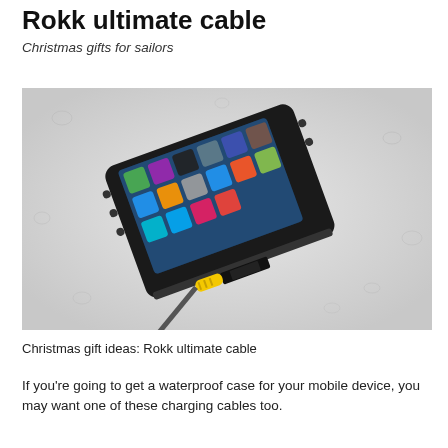Rokk ultimate cable
Christmas gifts for sailors
[Figure (photo): A rugged waterproof smartphone case (black) with a yellow charging cable plugged into it, resting on a wet surface with water droplets. The phone screen shows various app icons.]
Christmas gift ideas: Rokk ultimate cable
If you're going to get a waterproof case for your mobile device, you may want one of these charging cables too.